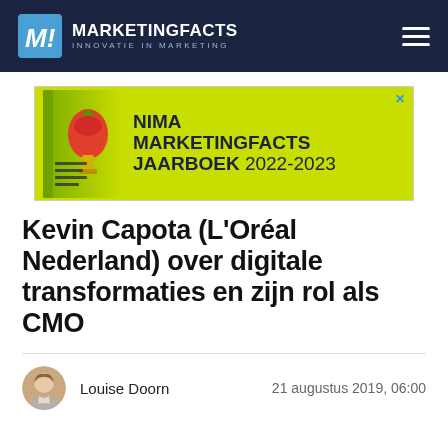MARKETINGFACTS INNOVATIE IN MARKETING
[Figure (illustration): NIMA Marketingfacts Jaarboek 2022-2023 advertisement banner with a book and light-bulb strawberry graphic on a lime-green background]
Kevin Capota (L’Oréal Nederland) over digitale transformaties en zijn rol als CMO
Louise Doorn   21 augustus 2019, 06:00